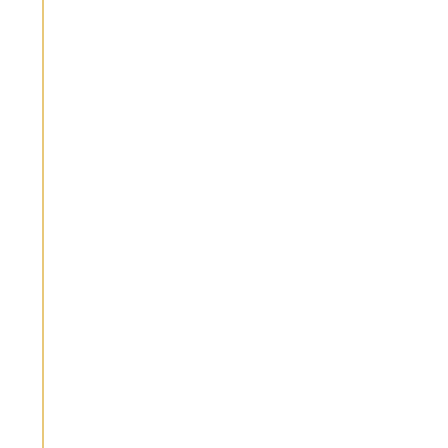Creams Main Ad Benefits
Vaginal Tightening Creams- An Excellent Way To Tighten A Vagina After Pregnancy
Ways For Women To Be Young And Fit
Ways To Enhance The Size Of Breasts Naturally
Ways To Naturally Enhance The Female Libido
What Are Man Made Pheromones
What Causes Anal Itching And How To Overcome It
What Causes Irritable Bowel Syndrome
What Causes Kidney Stones And What Can Be Done To Treat Them